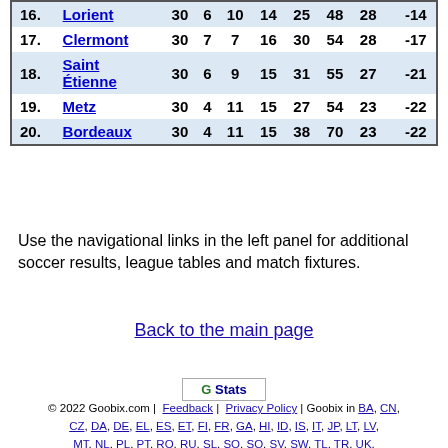| # | Team | GP | W | D | L | GF | GA | Pts | GD |
| --- | --- | --- | --- | --- | --- | --- | --- | --- | --- |
| 16. | Lorient | 30 | 6 | 10 | 14 | 25 | 48 | 28 | -14 |
| 17. | Clermont | 30 | 7 | 7 | 16 | 30 | 54 | 28 | -17 |
| 18. | Saint Étienne | 30 | 6 | 9 | 15 | 31 | 55 | 27 | -21 |
| 19. | Metz | 30 | 4 | 11 | 15 | 27 | 54 | 23 | -22 |
| 20. | Bordeaux | 30 | 4 | 11 | 15 | 38 | 70 | 23 | -22 |
Use the navigational links in the left panel for additional soccer results, league tables and match fixtures.
Back to the main page
[Figure (logo): G Stats button/logo]
© 2022 Goobix.com | Feedback | Privacy Policy | Goobix in BA, CN, CZ, DA, DE, EL, ES, ET, FI, FR, GA, HI, ID, IS, IT, JP, LT, LV, MT, NL, PL, PT, RO, RU, SL, SO, SQ, SV, SW, TL, TR, UK, VI, ZU